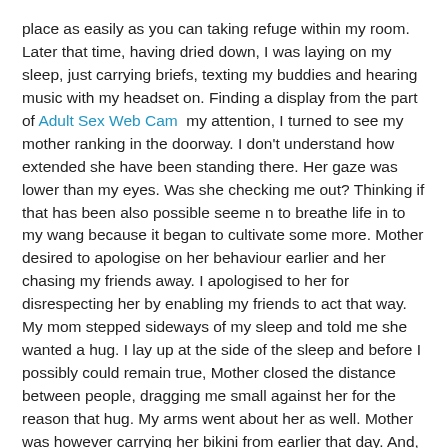place as easily as you can taking refuge within my room. Later that time, having dried down, I was laying on my sleep, just carrying briefs, texting my buddies and hearing music with my headset on. Finding a display from the part of Adult Sex Web Cam  my attention, I turned to see my mother ranking in the doorway. I don't understand how extended she have been standing there. Her gaze was lower than my eyes. Was she checking me out? Thinking if that has been also possible seeme n to breathe life in to my wang because it began to cultivate some more. Mother desired to apologise on her behaviour earlier and her chasing my friends away. I apologised to her for disrespecting her by enabling my friends to act that way. My mom stepped sideways of my sleep and told me she wanted a hug. I lay up at the side of the sleep and before I possibly could remain true, Mother closed the distance between people, dragging me small against her for the reason that hug. My arms went about her as well. Mother was however carrying her bikini from earlier that day. And, as a result of level big difference between us, my head was against Mom's 36C's. She had her hands around me pulling me as tightly as you possibly can against them. My hands were about her waist, embracing her as